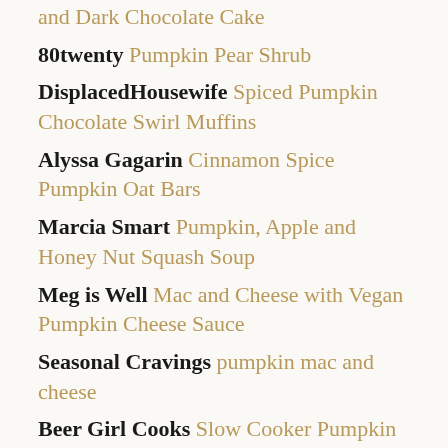and Dark Chocolate Cake
80twenty Pumpkin Pear Shrub
DisplacedHousewife Spiced Pumpkin Chocolate Swirl Muffins
Alyssa Gagarin Cinnamon Spice Pumpkin Oat Bars
Marcia Smart Pumpkin, Apple and Honey Nut Squash Soup
Meg is Well Mac and Cheese with Vegan Pumpkin Cheese Sauce
Seasonal Cravings pumpkin mac and cheese
Beer Girl Cooks Slow Cooker Pumpkin Ale Braised Short Ribs Sliders with Beer
Caramelized Onion Horseradish S...